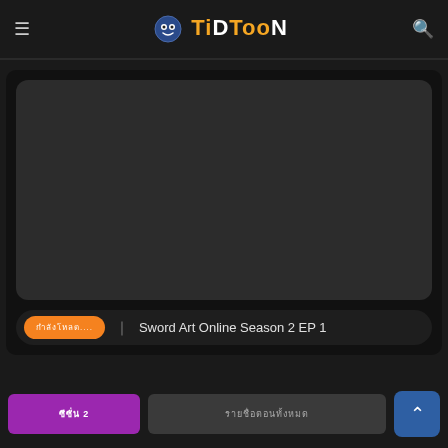TiDTooN
[Figure (screenshot): Dark video player placeholder area with rounded corners]
กำลังโหลด....  :  Sword Art Online Season 2 EP 1
ซีซั่น 2
รายชื่อตอนทั้งหมด